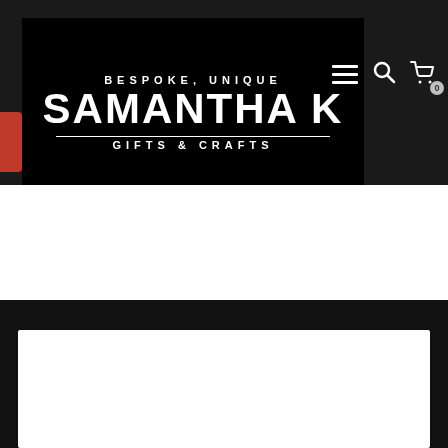[Figure (logo): Samantha K Gifts & Crafts logo — black background with white text reading BESPOKE, UNIQUE / SAMANTHA K / GIFTS & CRAFTS]
[Figure (screenshot): Website navigation bar with hamburger menu icon, search icon, and cart icon with badge showing 0]